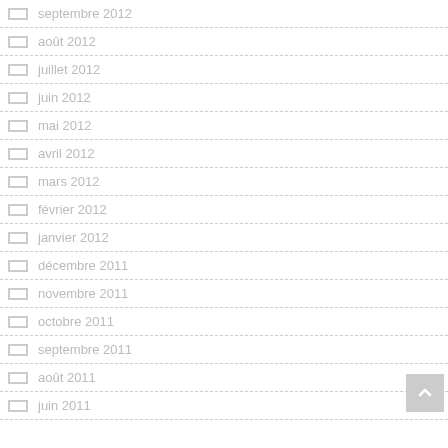septembre 2012
août 2012
juillet 2012
juin 2012
mai 2012
avril 2012
mars 2012
février 2012
janvier 2012
décembre 2011
novembre 2011
octobre 2011
septembre 2011
août 2011
juin 2011